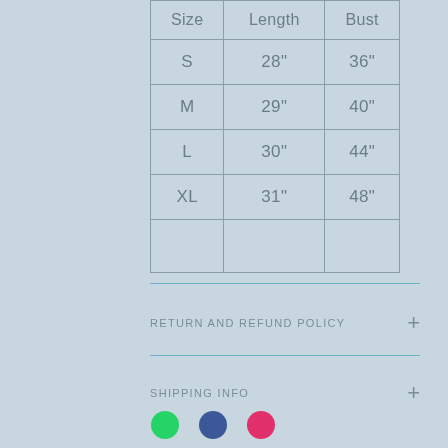| Size | Length | Bust |
| --- | --- | --- |
| S | 28" | 36" |
| M | 29" | 40" |
| L | 30" | 44" |
| XL | 31" | 48" |
|  |  |  |
RETURN AND REFUND POLICY
SHIPPING INFO